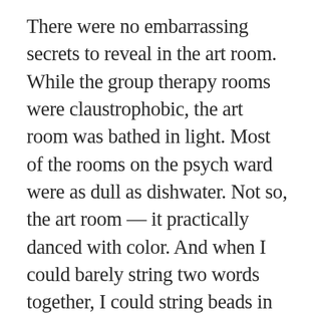There were no embarrassing secrets to reveal in the art room. While the group therapy rooms were claustrophobic, the art room was bathed in light. Most of the rooms on the psych ward were as dull as dishwater. Not so, the art room — it practically danced with color. And when I could barely string two words together, I could string beads in the art room. When I was sure that my brain was broken, I could make a collage in the art room. When I had no idea how dark my moods were, I could still color Crayola style in the art room. When I could barely pick myself up, I could pick up a paintbrush in